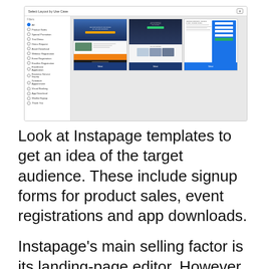[Figure (screenshot): Screenshot of Instapage 'Select Layout by Use Case' dialog showing a sidebar with filter options (All, Product Sales, Special Promotion, Trial Demo, Demo Request, Asset Download, Webinar Registration, Event Registration, Enrollee Registration, Enrollment Application, Business Service Inquiry, Schedule Appointment, Visual Booking, App Download, Waitlist Signup, Thank You) and three landing page template thumbnails displayed in a grid.]
Look at Instapage templates to get an idea of the target audience. These include signup forms for product sales, event registrations and app downloads.
Instapage's main selling factor is its landing-page editor. However, the template can be used in any other state